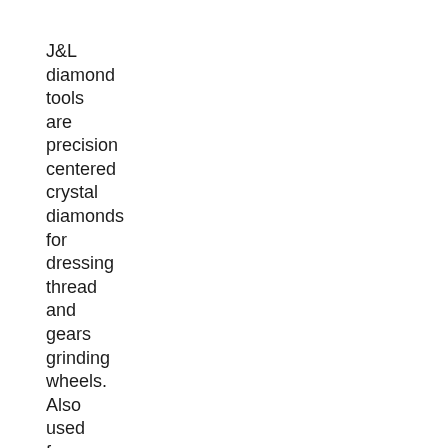J&L diamond tools are precision centered crystal diamonds for dressing thread and gears grinding wheels. Also used for truing wheels on internal grinders.